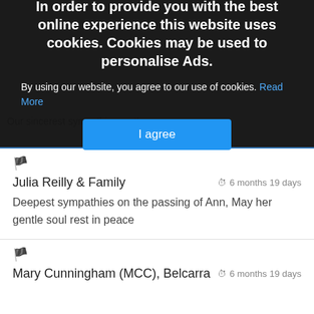In order to provide you with the best online experience this website uses cookies. Cookies may be used to personalise Ads.
By using our website, you agree to our use of cookies. Read More
I agree
Julia Reilly & Family
6 months 19 days
Deepest sympathies on the passing of Ann, May her gentle soul rest in peace
Mary Cunningham (MCC), Belcarra
6 months 19 days